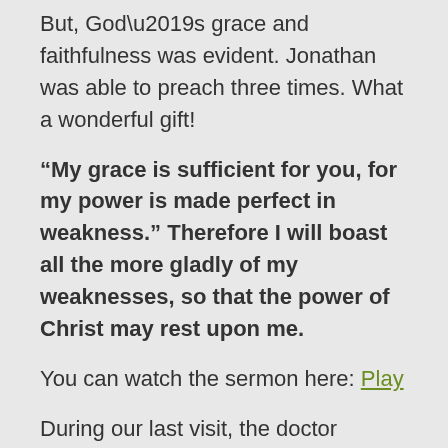But, God’s grace and faithfulness was evident. Jonathan was able to preach three times. What a wonderful gift!
“My grace is sufficient for you, for my power is made perfect in weakness.” Therefore I will boast all the more gladly of my weaknesses, so that the power of Christ may rest upon me.
You can watch the sermon here: Play
During our last visit, the doctor